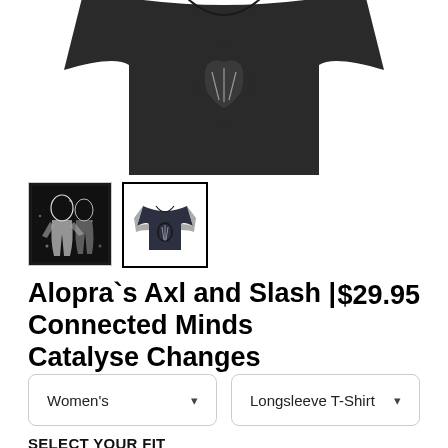[Figure (photo): Product photo of a dark navy/charcoal raglan longsleeve t-shirt shown from the front, cropped at the top portion showing the body and collar area.]
[Figure (photo): Small thumbnail: black and white graphic image (Axl and Slash artwork) on dark background.]
[Figure (photo): Small thumbnail (selected/active): raglan longsleeve t-shirt in dark navy/gray on white background, with border indicating selection.]
Alopra`s Axl and Slash | Connected Minds Catalyse Changes
$29.95
Women's
Longsleeve T-Shirt
SELECT YOUR FIT